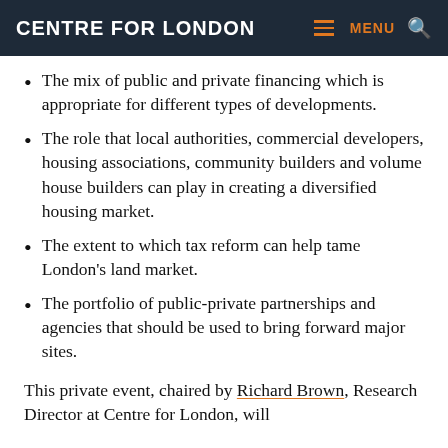CENTRE FOR LONDON
The mix of public and private financing which is appropriate for different types of developments.
The role that local authorities, commercial developers, housing associations, community builders and volume house builders can play in creating a diversified housing market.
The extent to which tax reform can help tame London's land market.
The portfolio of public-private partnerships and agencies that should be used to bring forward major sites.
This private event, chaired by Richard Brown, Research Director at Centre for London, will